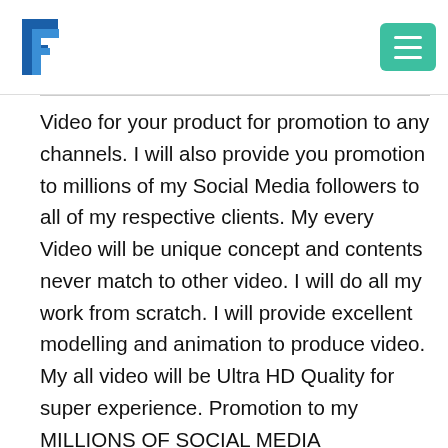[Figure (logo): Website logo with stylized bracket and F letter in blue, top left]
[Figure (other): Teal/green hamburger menu button, top right]
Video for your product for promotion to any channels. I will also provide you promotion to millions of my Social Media followers to all of my respective clients. My every Video will be unique concept and contents never match to other video. I will do all my work from scratch. I will provide excellent modelling and animation to produce video. My all video will be Ultra HD Quality for super experience. Promotion to my MILLIONS OF SOCIAL MEDIA FOLLOWERS. For large and enterprise level big project Please inbox me I quote according to your project requirements. Sound effect and VFX are also included in this package. For extra services charges will be extra. Please inbox me before ordering. So, hurry book my service now! I am technology expert having more than 13+ years